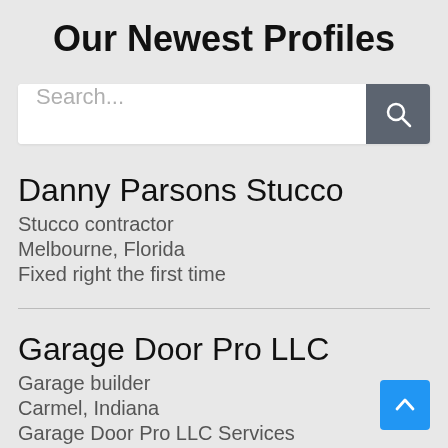Our Newest Profiles
[Figure (screenshot): Search bar with placeholder text 'Search...' and a dark grey search button with magnifying glass icon]
Danny Parsons Stucco
Stucco contractor
Melbourne, Florida
Fixed right the first time
Garage Door Pro LLC
Garage builder
Carmel, Indiana
Garage Door Pro LLC Services